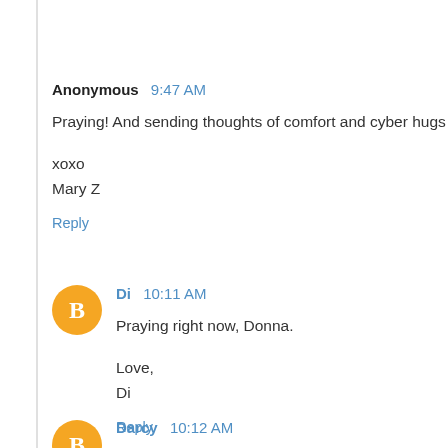Anonymous 9:47 AM
Praying! And sending thoughts of comfort and cyber hugs, to
xoxo
Mary Z
Reply
Di 10:11 AM
Praying right now, Donna.
Love,
Di
Reply
Darcy 10:12 AM
Praying for your husband, and for you. God is so good. Even
Reply